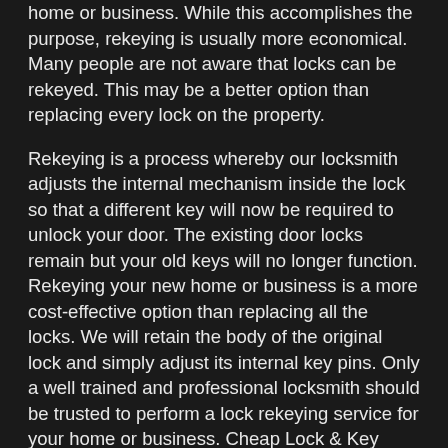home or business. While this accomplishes the purpose, rekeying is usually more economical. Many people are not aware that locks can be rekeyed. This may be a better option than replacing every lock on the property.
Rekeying is a process whereby our locksmith adjusts the internal mechanism inside the lock so that a different key will now be required to unlock your door. The existing door locks remain but your old keys will no longer function. Rekeying your new home or business is a more cost-effective option than replacing all the locks. We will retain the body of the original lock and simply adjust its internal key pins. Only a well trained and professional locksmith should be trusted to perform a lock rekeying service for your home or business. Cheap Lock & Key offers expert lock rekeying services for homes or businesses located in Tampa, Wesley Chapel, Brandon and surrounding areas.